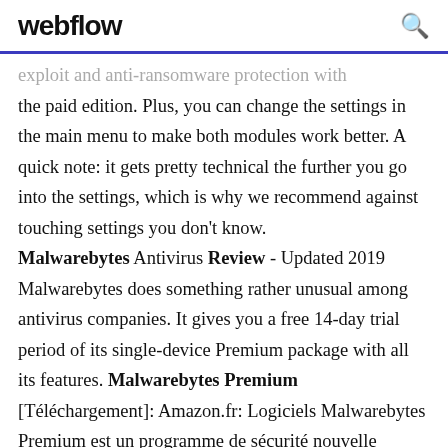webflow
exploit and anti-ransomware protection with the paid edition. Plus, you can change the settings in the main menu to make both modules work better. A quick note: it gets pretty technical the further you go into the settings, which is why we recommend against touching settings you don't know.
Malwarebytes Antivirus Review - Updated 2019 Malwarebytes does something rather unusual among antivirus companies. It gives you a free 14-day trial period of its single-device Premium package with all its features. Malwarebytes Premium [Téléchargement]: Amazon.fr: Logiciels Malwarebytes Premium est un programme de sécurité nouvelle génération